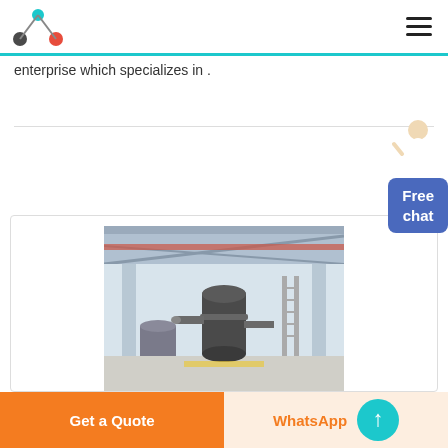Logo and navigation header with hamburger menu
enterprise which specializes in .
قراءة المزيد
[Figure (photo): Industrial factory interior showing large machinery/reactor vessel with scaffolding and structural framework overhead]
Get a Quote
WhatsApp